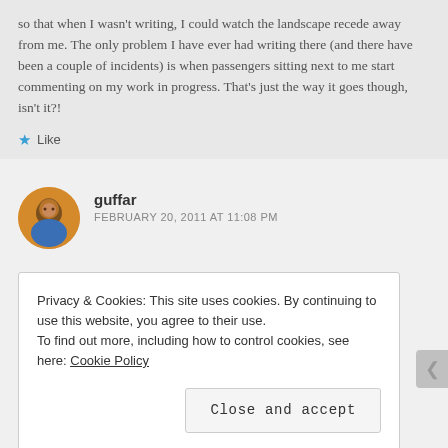so that when I wasn't writing, I could watch the landscape recede away from me. The only problem I have ever had writing there (and there have been a couple of incidents) is when passengers sitting next to me start commenting on my work in progress. That's just the way it goes though, isn't it?!
★ Like
guffar
FEBRUARY 20, 2011 AT 11:08 PM
Privacy & Cookies: This site uses cookies. By continuing to use this website, you agree to their use.
To find out more, including how to control cookies, see here: Cookie Policy
Close and accept